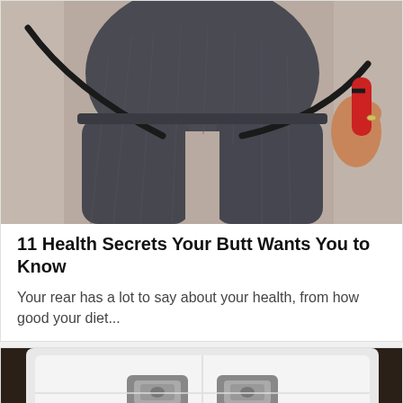[Figure (photo): Close-up of a person in dark grey leggings holding a jump rope with a red handle, seen from behind/side at waist/hip level, outdoors on sandy ground.]
11 Health Secrets Your Butt Wants You to Know
Your rear has a lot to say about your health, from how good your diet...
[Figure (photo): White padded casket or luggage interior seen from above, with two silver clasps/locks visible, dark wood sides.]